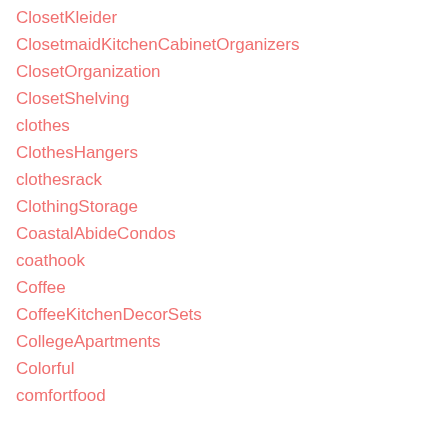ClosetKleider
ClosetmaidKitchenCabinetOrganizers
ClosetOrganization
ClosetShelving
clothes
ClothesHangers
clothesrack
ClothingStorage
CoastalAbideCondos
coathook
Coffee
CoffeeKitchenDecorSets
CollegeApartments
Colorful
comfortfood